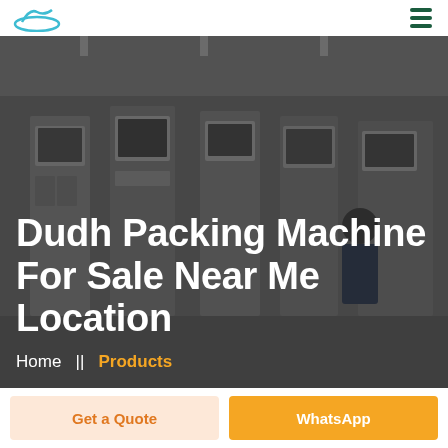[Logo] [Menu icon]
[Figure (photo): Industrial packing machines in a factory, dimly lit with dark overlay]
Dudh Packing Machine For Sale Near Me Location
Home  ||  Products
Get a Quote
WhatsApp